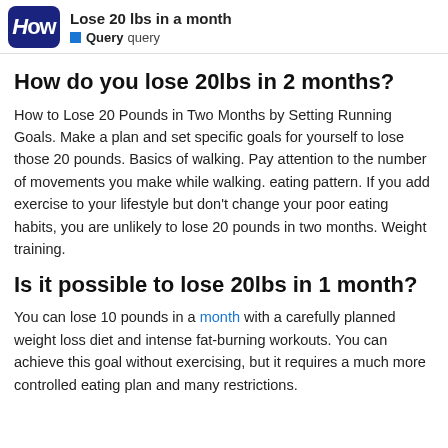Lose 20 lbs in a month | Query query
How do you lose 20lbs in 2 months?
How to Lose 20 Pounds in Two Months by Setting Running Goals. Make a plan and set specific goals for yourself to lose those 20 pounds. Basics of walking. Pay attention to the number of movements you make while walking. eating pattern. If you add exercise to your lifestyle but don't change your poor eating habits, you are unlikely to lose 20 pounds in two months. Weight training.
Is it possible to lose 20lbs in 1 month?
You can lose 10 pounds in a month with a carefully planned weight loss diet and intense fat-burning workouts. You can achieve this goal without exercising, but it requires a much more controlled eating plan and many restrictions.